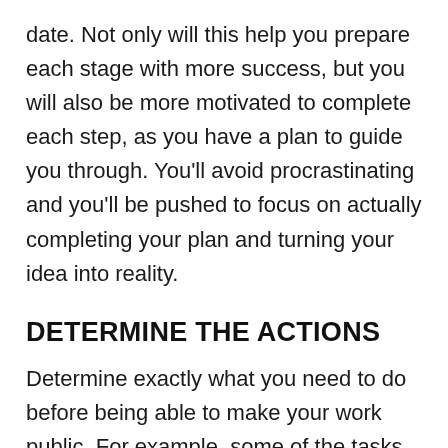date. Not only will this help you prepare each stage with more success, but you will also be more motivated to complete each step, as you have a plan to guide you through. You'll avoid procrastinating and you'll be pushed to focus on actually completing your plan and turning your idea into reality.
DETERMINE THE ACTIONS
Determine exactly what you need to do before being able to make your work public. For example, some of the tasks might include photo